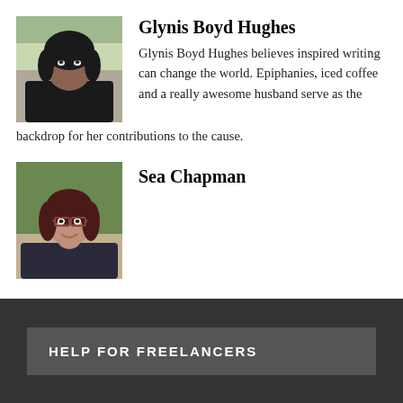[Figure (photo): Headshot photo of Glynis Boyd Hughes, a woman with curly dark hair looking upward, dark clothing, outdoor background]
Glynis Boyd Hughes
Glynis Boyd Hughes believes inspired writing can change the world. Epiphanies, iced coffee and a really awesome husband serve as the backdrop for her contributions to the cause.
[Figure (photo): Headshot photo of Sea Chapman, a woman with dark reddish hair and glasses, smiling, outdoor background]
Sea Chapman
HELP FOR FREELANCERS